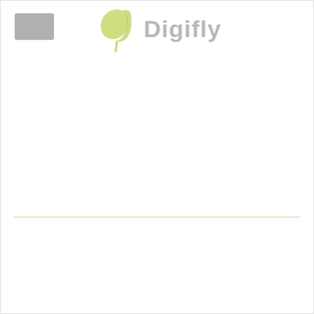[Figure (logo): Digifly logo with green leaf/wing icon and gray 'Digifly' text, plus a gray rectangle placeholder in the upper left]
[Figure (other): Horizontal light green/olive divider line separating upper and lower sections of the page]